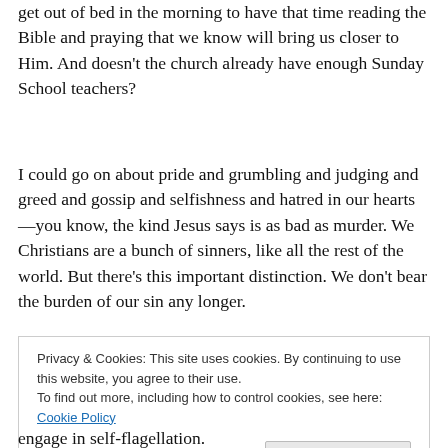get out of bed in the morning to have that time reading the Bible and praying that we know will bring us closer to Him. And doesn't the church already have enough Sunday School teachers?
I could go on about pride and grumbling and judging and greed and gossip and selfishness and hatred in our hearts—you know, the kind Jesus says is as bad as murder. We Christians are a bunch of sinners, like all the rest of the world. But there's this important distinction. We don't bear the burden of our sin any longer.
Privacy & Cookies: This site uses cookies. By continuing to use this website, you agree to their use. To find out more, including how to control cookies, see here: Cookie Policy
engage in self-flagellation.